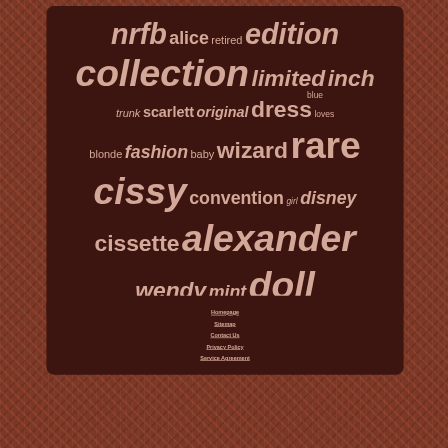[Figure (infographic): Word cloud with doll-related keywords in varying sizes on dark brown background. Words include: nrfb, alice, retired, edition, collection, limited, inch, blue, trunk, scarlett, original, dress, loves, blonde, fashion, baby, wizard, rare, cissy, convention, girl, disney, cissette, alexander, wendy, mint, doll]
Homepage
Sitemap
Contact Us
Privacy Policy
Service Agreement